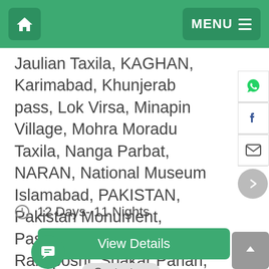Home | MENU
Jaulian Taxila, KAGHAN, Karimabad, Khunjerab pass, Lok Virsa, Minapin Village, Mohra Moradu Taxila, Nanga Parbat, NARAN, National Museum Islamabad, PAKISTAN, Pakistan Monument, Passu Cones, Raja Bazaar, Rakaposhi, Shakar Parian, Shispare Peak, Sirkap Taxila, Taxila, Taxila Museum, Thak Nala
12 Days- 11 Nights
View Details
Contact us